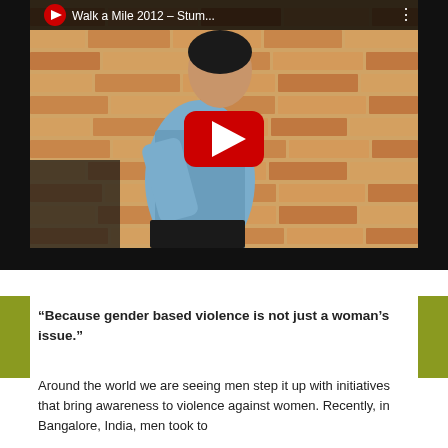[Figure (screenshot): YouTube video thumbnail showing a young man in a blue shirt against a brick wall background. Video title reads 'Walk a Mile 2012 – Stum...' with a red YouTube play button overlay.]
“Because gender based violence is not just a woman’s issue.”
Around the world we are seeing men step it up with initiatives that bring awareness to violence against women. Recently, in Bangalore, India, men took to